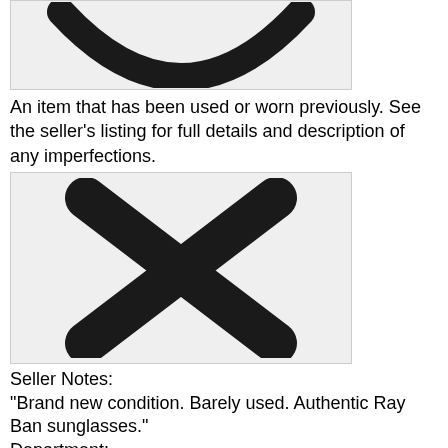[Figure (illustration): Partial image showing a rounded U/C shape (bottom of a smiley face or sunglasses icon) on a light gray background]
An item that has been used or worn previously. See the seller’s listing for full details and description of any imperfections.
[Figure (illustration): An X shape made of two thick rounded black bars crossing diagonally, on a light gray background]
Seller Notes:
“Brand new condition. Barely used. Authentic Ray Ban sunglasses.”
Department:
Girls
Style:
Aviator
Lens Technology:
Gradient
Type:
Girls
UV Protection: